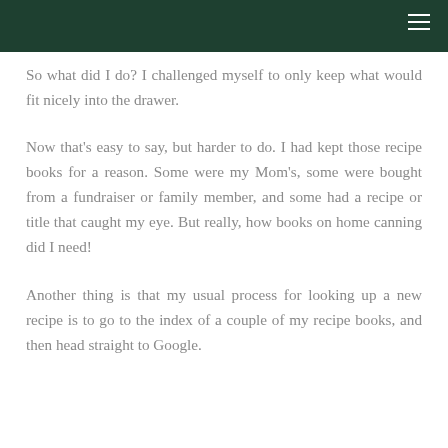So what did I do? I challenged myself to only keep what would fit nicely into the drawer.
Now that's easy to say, but harder to do. I had kept those recipe books for a reason. Some were my Mom's, some were bought from a fundraiser or family member, and some had a recipe or title that caught my eye. But really, how books on home canning did I need!
Another thing is that my usual process for looking up a new recipe is to go to the index of a couple of my recipe books, and then head straight to Google.